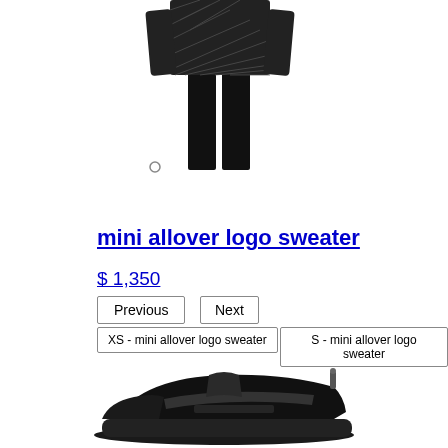[Figure (photo): Partial view of a model wearing a black allover logo sweater and black pants, cropped at the torso/legs]
mini allover logo sweater
$ 1,350
Previous
Next
XS - mini allover logo sweater
S - mini allover logo sweater
[Figure (photo): Black chunky sneaker/trainer shoe on white background]